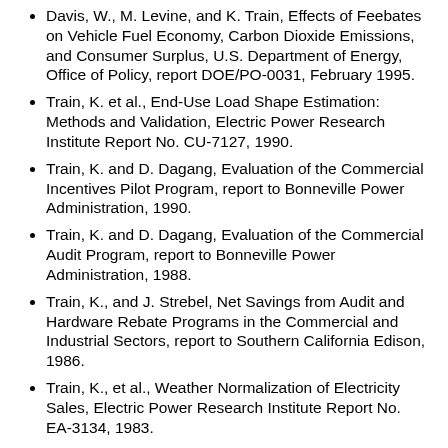Davis, W., M. Levine, and K. Train, Effects of Feebates on Vehicle Fuel Economy, Carbon Dioxide Emissions, and Consumer Surplus, U.S. Department of Energy, Office of Policy, report DOE/PO-0031, February 1995.
Train, K. et al., End-Use Load Shape Estimation: Methods and Validation, Electric Power Research Institute Report No. CU-7127, 1990.
Train, K. and D. Dagang, Evaluation of the Commercial Incentives Pilot Program, report to Bonneville Power Administration, 1990.
Train, K. and D. Dagang, Evaluation of the Commercial Audit Program, report to Bonneville Power Administration, 1988.
Train, K., and J. Strebel, Net Savings from Audit and Hardware Rebate Programs in the Commercial and Industrial Sectors, report to Southern California Edison, 1986.
Train, K., et al., Weather Normalization of Electricity Sales, Electric Power Research Institute Report No. EA-3134, 1983.
Train, K., J. Herriges, and R. Windle, Combined Engineering/Statistical Approaches to Estimating End-Use Load Shapes, Electric Power Research Institute Report EA-4310, 1985.
Train, K., California Personal Vehicle Energy Demand